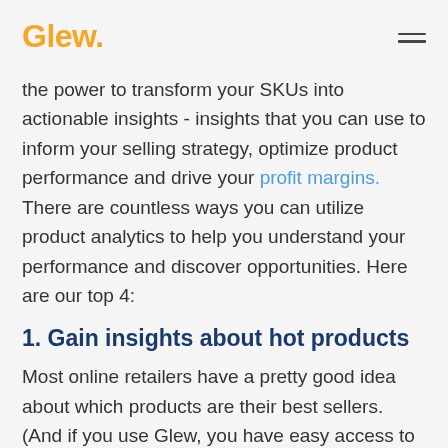Glew.
the power to transform your SKUs into actionable insights - insights that you can use to inform your selling strategy, optimize product performance and drive your profit margins. There are countless ways you can utilize product analytics to help you understand your performance and discover opportunities. Here are our top 4:
1. Gain insights about hot products
Most online retailers have a pretty good idea about which products are their best sellers. (And if you use Glew, you have easy access to segments of your high-volume, high-margin and most-profitable products). But for insights you can act on, we like